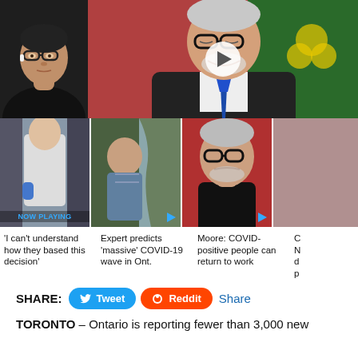[Figure (photo): Two-panel image: left shows a man with glasses and black shirt (dark background); right shows an older man with glasses, white shirt, blue tie, smiling at podium with Ontario flag behind, with a play button overlay.]
[Figure (photo): Thumbnail 1 (NOW PLAYING): Lab/medical setting with person in white coat. Badge reads 'NOW PLAYING'.]
[Figure (photo): Thumbnail 2: Older man outdoors near waterfall, with play button.]
[Figure (photo): Thumbnail 3: Older man with glasses looking serious, red background, with play button.]
'I can't understand how they based this decision'
Expert predicts 'massive' COVID-19 wave in Ont.
Moore: COVID-positive people can return to work
SHARE:
TORONTO – Ontario is reporting fewer than 3,000 new